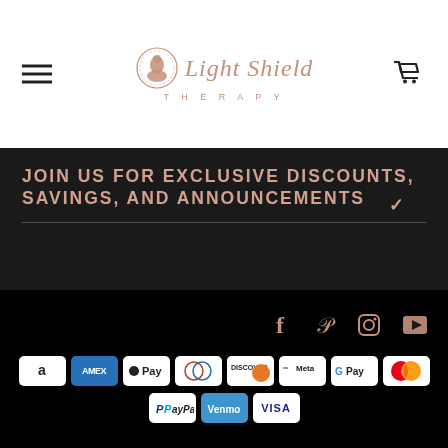[Figure (logo): Light Shield Therapy logo with circle face silhouette and rose gold script text]
JOIN US FOR EXCLUSIVE DISCOUNTS, SAVINGS, AND ANNOUNCEMENTS
[Figure (infographic): Social media icons: Facebook, Pinterest, Instagram, YouTube in rose gold]
[Figure (infographic): Payment method badges: Amazon, Amex, Apple Pay, Diners, Discover, Meta, Google Pay, Mastercard, PayPal, Venmo, Visa]